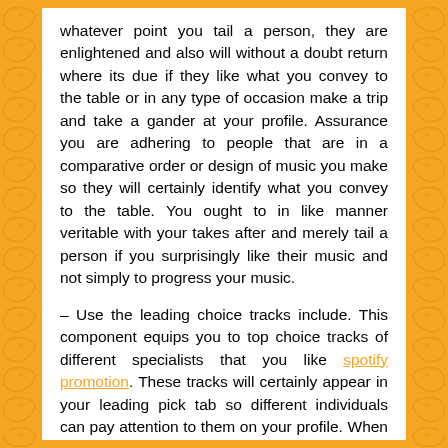whatever point you tail a person, they are enlightened and also will without a doubt return where its due if they like what you convey to the table or in any type of occasion make a trip and take a gander at your profile. Assurance you are adhering to people that are in a comparative order or design of music you make so they will certainly identify what you convey to the table. You ought to in like manner veritable with your takes after and merely tail a person if you surprisingly like their music and not simply to progress your music.
– Use the leading choice tracks include. This component equips you to top choice tracks of different specialists that you like spotify promotion. These tracks will certainly appear in your leading pick tab so different individuals can pay attention to them on your profile. When you most admired someone's track they are continuously informed and also there is a bearable shot they will visit your account to trying out a section of your tunes. If they like what they listen to, they may furnish an equivalent compensation and most valued one of your songs which will at that point appear in the feed of the